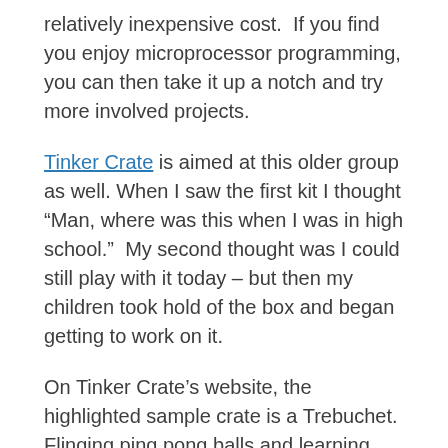relatively inexpensive cost.  If you find you enjoy microprocessor programming, you can then take it up a notch and try more involved projects.
Tinker Crate is aimed at this older group as well. When I saw the first kit I thought “Man, where was this when I was in high school.”  My second thought was I could still play with it today – but then my children took hold of the box and began getting to work on it.
On Tinker Crate’s website, the highlighted sample crate is a Trebuchet.  Flinging ping pong balls and learning about levers and pulleys at the same time – what’s not to love?